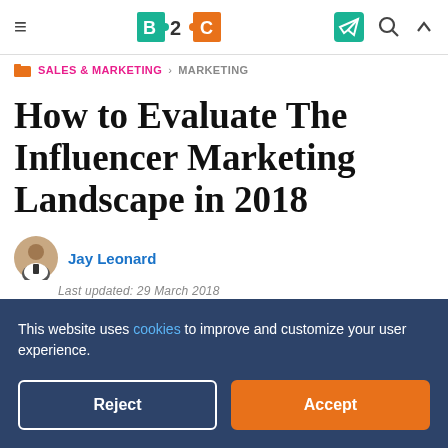B2C — Navigation bar with hamburger menu, logo, and icons
SALES & MARKETING › MARKETING
How to Evaluate The Influencer Marketing Landscape in 2018
Jay Leonard
This website uses cookies to improve and customize your user experience.
Reject  Accept